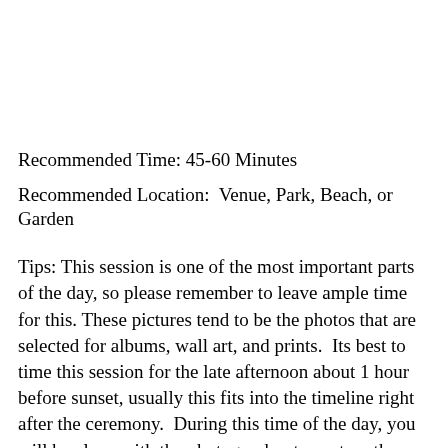Recommended Time: 45-60 Minutes
Recommended Location:  Venue, Park, Beach, or Garden
Tips: This session is one of the most important parts of the day, so please remember to leave ample time for this. These pictures tend to be the photos that are selected for albums, wall art, and prints.  Its best to time this session for the late afternoon about 1 hour before sunset, usually this fits into the timeline right after the ceremony.  During this time of the day, you will be alone with the photographer to capture the photos that would really showcase your venue. If you chose your venue for any spectacular view, this is also the best time to get environmental portraits with this as